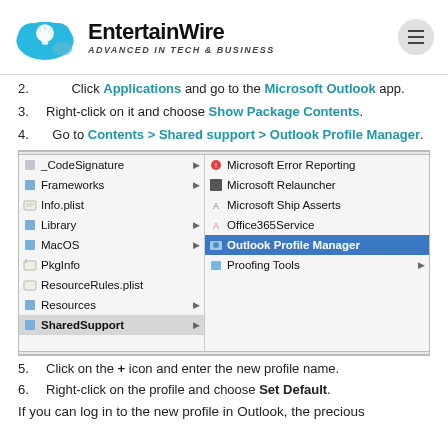EntertainWire — ADVANCED IN TECH & BUSINESS
2. Click Applications and go to the Microsoft Outlook app.
3. Right-click on it and choose Show Package Contents.
4. Go to Contents > Shared support > Outlook Profile Manager.
[Figure (screenshot): macOS Finder window showing package contents with SharedSupport selected on the left and Outlook Profile Manager highlighted in blue on the right]
5. Click on the + icon and enter the new profile name.
6. Right-click on the profile and choose Set Default.
If you can log in to the new profile in Outlook, the precious